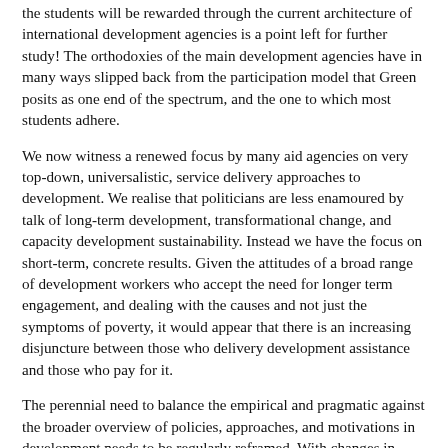the students will be rewarded through the current architecture of international development agencies is a point left for further study! The orthodoxies of the main development agencies have in many ways slipped back from the participation model that Green posits as one end of the spectrum, and the one to which most students adhere.
We now witness a renewed focus by many aid agencies on very top-down, universalistic, service delivery approaches to development. We realise that politicians are less enamoured by talk of long-term development, transformational change, and capacity development sustainability. Instead we have the focus on short-term, concrete results. Given the attitudes of a broad range of development workers who accept the need for longer term engagement, and dealing with the causes and not just the symptoms of poverty, it would appear that there is an increasing disjuncture between those who delivery development assistance and those who pay for it.
The perennial need to balance the empirical and pragmatic against the broader overview of policies, approaches, and motivations in development needs to be regularly reframed. With changes in many developing countries it seems that we need to question some of the approaches to development currently being accepted as standard. This is not always easy given the increasing dependence